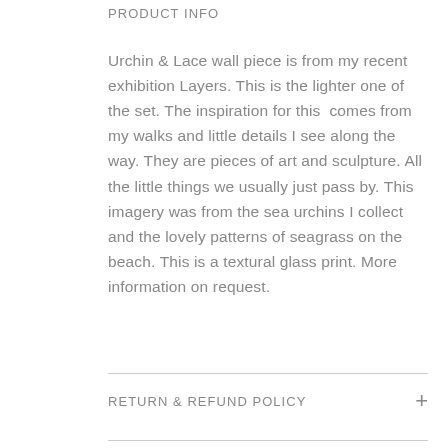PRODUCT INFO
Urchin & Lace wall piece is from my recent exhibition Layers. This is the lighter one of the set. The inspiration for this  comes from my walks and little details I see along the way. They are pieces of art and sculpture. All the little things we usually just pass by. This imagery was from the sea urchins I collect and the lovely patterns of seagrass on the beach. This is a textural glass print. More information on request.
RETURN & REFUND POLICY